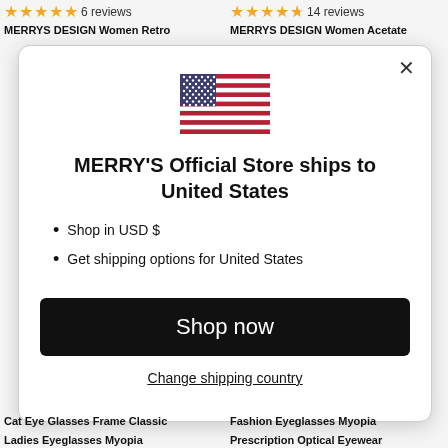6 reviews
14 reviews
MERRYS DESIGN Women Retro
MERRYS DESIGN Women Acetate
[Figure (illustration): US flag icon inside a modal dialog]
MERRY'S Official Store ships to United States
Shop in USD $
Get shipping options for United States
Shop now
Change shipping country
Cat Eye Glasses Frame Classic Ladies Eyeglasses Myopia
Fashion Eyeglasses Myopia Prescription Optical Eyewear